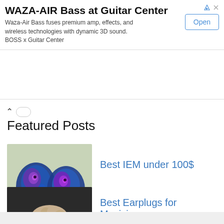[Figure (screenshot): Advertisement banner for WAZA-AIR Bass at Guitar Center with Open button]
WAZA-AIR Bass at Guitar Center
Waza-Air Bass fuses premium amp, effects, and wireless technologies with dynamic 3D sound. BOSS x Guitar Center
Featured Posts
[Figure (photo): Photo of two blue and purple custom in-ear monitors (IEMs)]
Best IEM under 100$
[Figure (photo): Photo of a musician with curly hair looking down]
Best Earplugs for Musicians